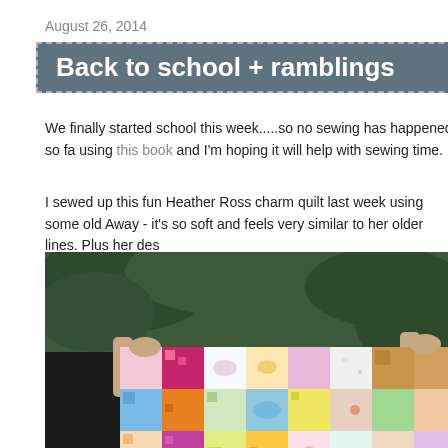August 26, 2014
Back to school + ramblings
We finally started school this week.....so no sewing has happened so fa using this book and I'm hoping it will help with sewing time.
I sewed up this fun Heather Ross charm quilt last week using some old Away - it's so soft and feels very similar to her older lines. Plus her des
[Figure (photo): A person holding up a colorful patchwork quilt made of various printed fabric squares in pink, orange, yellow, blue, green and white patterns, displayed outdoors against green foliage.]